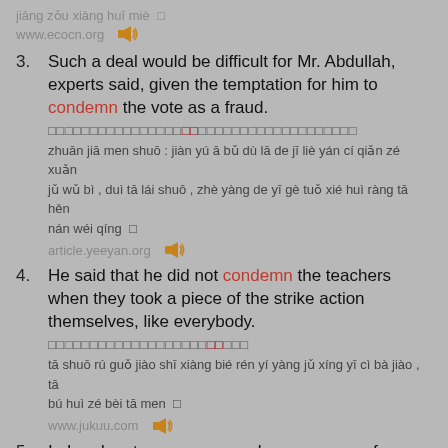jiāng zǒu xiàng huī miè
www.ecocn.org
Such a deal would be difficult for Mr. Abdullah, experts said, given the temptation for him to condemn the vote as a fraud.
[Chinese characters]
zhuān jiā men shuō : jiàn yú ā bǔ dù lā de jī liè yán cí qiǎn zé xuǎn jǔ wǔ bì , duì tā lái shuō , zhè yàng de yī gè tuǒ xié huì ràng tā hěn nán wéi qíng
article.yeeyan.org
He said that he did not condemn the teachers when they took a piece of the strike action themselves, like everybody.
[Chinese characters]
tā shuō rú guǒ jiào shī xiàng bié rén yí yàng jǔ xíng yī cì bà jiào , tā bú huì zé bèi tā men
www.jukuu.com
In London, to say someone has no sense of humour is to condemn them utterly.
[Chinese characters]
zài lún dūn , shuō yī gè rén quē fá yōu mò gǎn , děng yú shì shuō